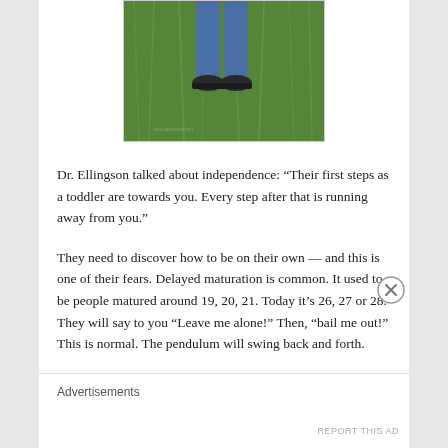[Figure (photo): A child's lower body (jeans and sneakers) standing on green grass, viewed from above.]
Dr. Ellingson talked about independence: “Their first steps as a toddler are towards you. Every step after that is running away from you.”
They need to discover how to be on their own — and this is one of their fears. Delayed maturation is common. It used to be people matured around 19, 20, 21. Today it’s 26, 27 or 28. They will say to you “Leave me alone!” Then, “bail me out!” This is normal. The pendulum will swing back and forth.
Advertisements